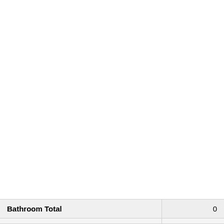|  |  |
| --- | --- |
| Bathroom Total | 0 |
|  |  |